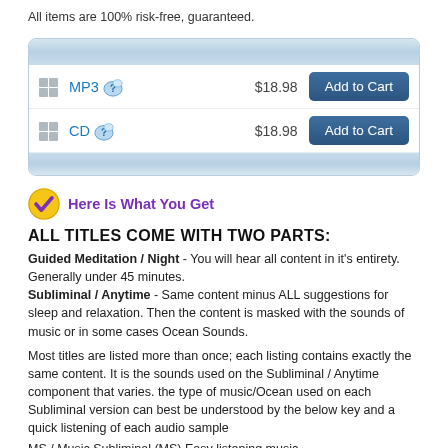All items are 100% risk-free, guaranteed.
|  | Format | Price | Action |
| --- | --- | --- | --- |
|  | MP3 ? | $18.98 | Add to Cart |
|  | CD ? | $18.98 | Add to Cart |
Here Is What You Get
ALL TITLES COME WITH TWO PARTS:
Guided Meditation / Night - You will hear all content in it's entirety. Generally under 45 minutes.
Subliminal / Anytime - Same content minus ALL suggestions for sleep and relaxation. Then the content is masked with the sounds of music or in some cases Ocean Sounds.
Most titles are listed more than once; each listing contains exactly the same content. It is the sounds used on the Subliminal / Anytime component that varies. the type of music/Ocean used on each Subliminal version can best be understood by the below key and a quick listening of each audio sample
MS / Music Subliminal (MS) Easy listening music